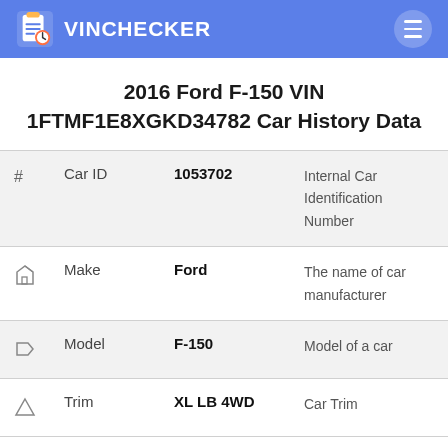VINCHECKER
2016 Ford F-150 VIN 1FTMF1E8XGKD34782 Car History Data
| # | Field | Value | Description |
| --- | --- | --- | --- |
| # | Car ID | 1053702 | Internal Car Identification Number |
| house | Make | Ford | The name of car manufacturer |
| tag | Model | F-150 | Model of a car |
| triangle | Trim | XL LB 4WD | Car Trim |